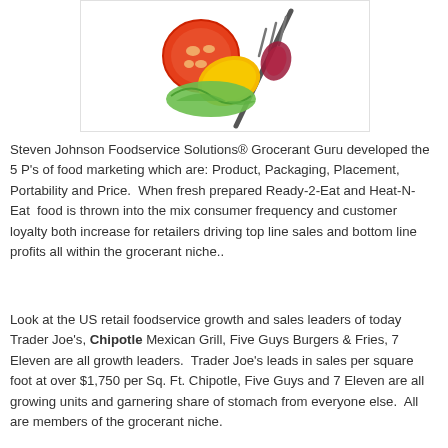[Figure (photo): Photo of fresh vegetables and salad on a fork — tomato, yellow pepper, green lettuce — on a white background]
Steven Johnson Foodservice Solutions® Grocerant Guru developed the 5 P's of food marketing which are: Product, Packaging, Placement, Portability and Price.  When fresh prepared Ready-2-Eat and Heat-N-Eat  food is thrown into the mix consumer frequency and customer loyalty both increase for retailers driving top line sales and bottom line profits all within the grocerant niche..
Look at the US retail foodservice growth and sales leaders of today Trader Joe's, Chipotle Mexican Grill, Five Guys Burgers & Fries, 7 Eleven are all growth leaders.  Trader Joe's leads in sales per square foot at over $1,750 per Sq. Ft. Chipotle, Five Guys and 7 Eleven are all growing units and garnering share of stomach from everyone else.  All are members of the grocerant niche.